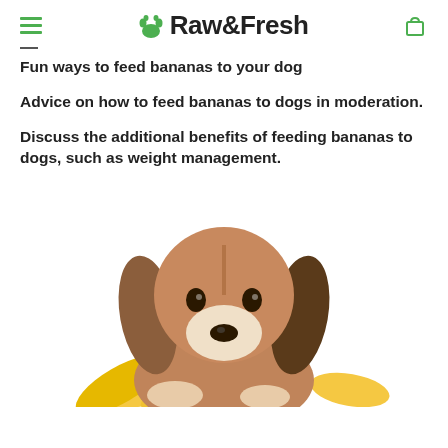Raw&Fresh
Fun ways to feed bananas to your dog
Advice on how to feed bananas to dogs in moderation.
Discuss the additional benefits of feeding bananas to dogs, such as weight management.
[Figure (photo): A beagle puppy with floppy ears resting its chin on a bunch of yellow bananas, on a white background.]